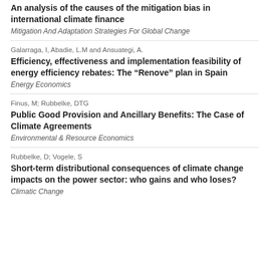An analysis of the causes of the mitigation bias in international climate finance
Mitigation And Adaptation Strategies For Global Change
Galarraga, I, Abadie, L.M and Ansuategi, A.
Efficiency, effectiveness and implementation feasibility of energy efficiency rebates: The “Renove” plan in Spain
Energy Economics
Finus, M; Rubbelke, DTG
Public Good Provision and Ancillary Benefits: The Case of Climate Agreements
Environmental & Resource Economics
Rubbelke, D; Vogele, S
Short-term distributional consequences of climate change impacts on the power sector: who gains and who loses?
Climatic Change